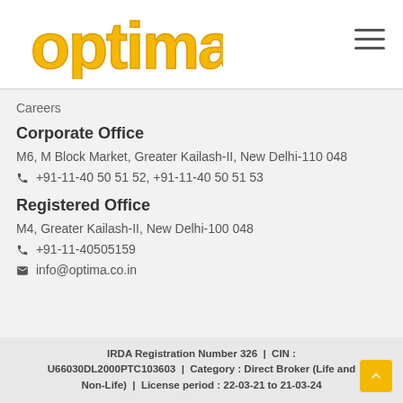[Figure (logo): Optima logo in yellow/gold rounded bubble letters]
Careers
Corporate Office
M6, M Block Market, Greater Kailash-II, New Delhi-110 048
+91-11-40 50 51 52, +91-11-40 50 51 53
Registered Office
M4, Greater Kailash-II, New Delhi-100 048
+91-11-40505159
info@optima.co.in
IRDA Registration Number 326 | CIN : U66030DL2000PTC103603 | Category : Direct Broker (Life and Non-Life) | License period : 22-03-21 to 21-03-24